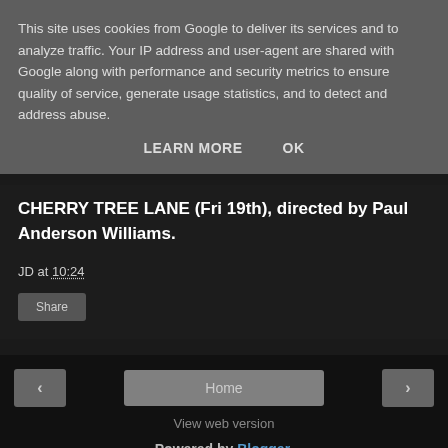This site uses cookies from Google to deliver its services and to analyze traffic. Your IP address and user-agent are shared with Google along with performance and security metrics to ensure quality of service, generate usage statistics, and to detect and address abuse.
LEARN MORE   OK
CHERRY TREE LANE (Fri 19th), directed by Paul Anderson Williams.
JD at 10:24
Share
‹   Home   ›
View web version
Powered by Blogger.